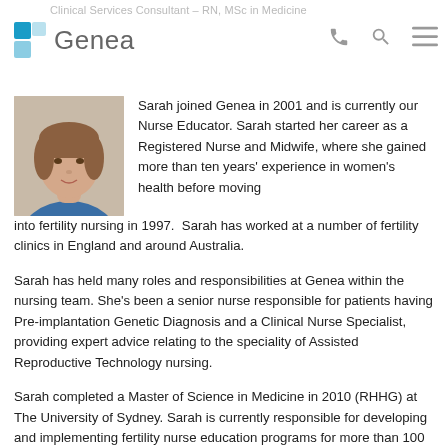Clinical Services Consultant – RN, MSc in Medicine
[Figure (logo): Genea logo with blue diamond shape and grey text]
[Figure (photo): Headshot photo of Sarah, a woman with short brown hair wearing a blue top]
Sarah joined Genea in 2001 and is currently our Nurse Educator. Sarah started her career as a Registered Nurse and Midwife, where she gained more than ten years' experience in women's health before moving into fertility nursing in 1997.  Sarah has worked at a number of fertility clinics in England and around Australia.
Sarah has held many roles and responsibilities at Genea within the nursing team. She's been a senior nurse responsible for patients having Pre-implantation Genetic Diagnosis and a Clinical Nurse Specialist, providing expert advice relating to the speciality of Assisted Reproductive Technology nursing.
Sarah completed a Master of Science in Medicine in 2010 (RHHG) at The University of Sydney. Sarah is currently responsible for developing and implementing fertility nurse education programs for more than 100 Genea nurses. Sarah is passionate about professional development of nurses in the